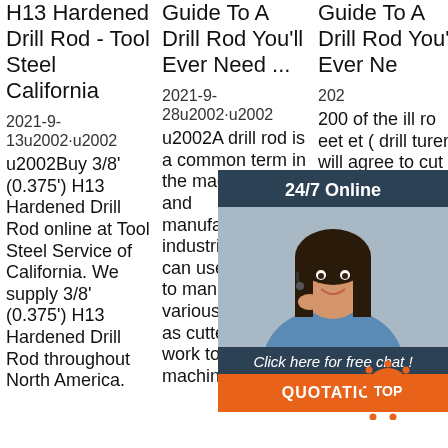H13 Hardened Drill Rod - Tool Steel California
Guide To A Drill Rod You'll Ever Need ...
Guide To A Drill Rod You'll Ever Ne...
2021-9-13u2002·u2002Buy 3/8' (0.375') H13 Hardened Drill Rod online at Tool Steel Service of California. We supply 3/8' (0.375') H13 Hardened Drill Rod throughout North America.
2021-9-28u2002·u2002A drill rod is a common term in the machinery and manufacturing industries. You can use drill rods to manufacture various tools such as cutters, hot-work tools, machine parts, pu
202...u2002200...of the ill ro...eet...et (...drill...turers will agree to cut 12 feet rods into two 6 feet rods that are easier to work with a
[Figure (photo): Customer service representative with headset, chat widget overlay with '24/7 Online' header, 'Click here for free chat!' text, and orange QUOTATION button]
[Figure (logo): Orange circular TOP badge with dots around circumference]